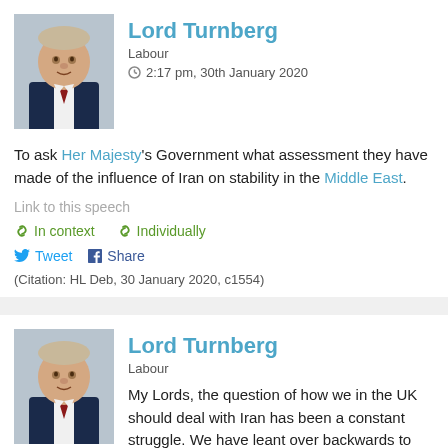Lord Turnberg
Labour
2:17 pm, 30th January 2020
To ask Her Majesty's Government what assessment they have made of the influence of Iran on stability in the Middle East.
Link to this speech
In context   Individually
Tweet   Share
(Citation: HL Deb, 30 January 2020, c1554)
Lord Turnberg
Labour
My Lords, the question of how we in the UK should deal with Iran has been a constant struggle. We have leant over backwards to reach some sort of agreement with that country, and no one tried harder than our own noble Baroness, Lady Ashton, when she represented the EU in putting forward the Joint Comprehensive Plan of